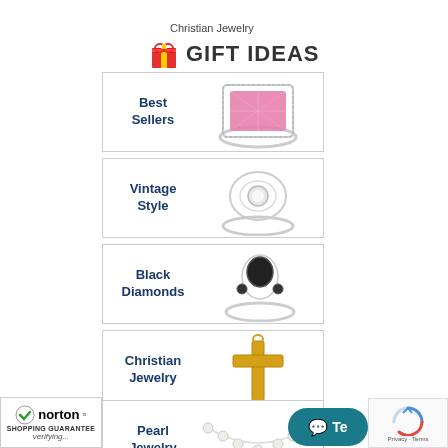Christian Jewelry
GIFT IDEAS
[Figure (illustration): Best Sellers category card with a pink gemstone ring in a diamond halo setting]
[Figure (illustration): Vintage Style category card with a vintage silver filigree ring with a round white diamond]
[Figure (illustration): Black Diamonds category card with a silver ring featuring a black diamond center stone]
[Figure (illustration): Christian Jewelry category card with a gold cross pendant necklace]
[Figure (illustration): Pearl Jewelry category card with a pearl necklace strand]
[Figure (logo): Norton Shopping Guarantee badge with verifying status]
[Figure (illustration): Live chat button overlay]
[Figure (illustration): reCAPTCHA logo widget]